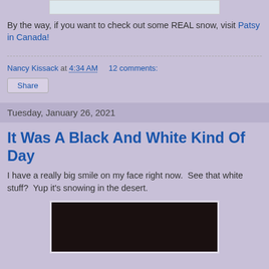[Figure (photo): Partial snow scene photo at top of page]
By the way, if you want to check out some REAL snow, visit Patsy in Canada!
Nancy Kissack at 4:34 AM   12 comments:
Share
Tuesday, January 26, 2021
It Was A Black And White Kind Of Day
I have a really big smile on my face right now.  See that white stuff?  Yup it's snowing in the desert.
[Figure (photo): Dark nighttime photo showing snow in desert, partially visible at bottom of page]